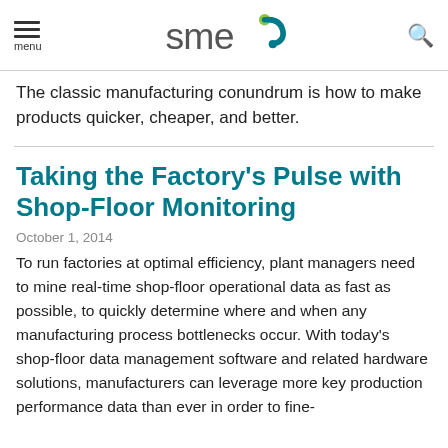menu | SME logo | search
The classic manufacturing conundrum is how to make products quicker, cheaper, and better.
Taking the Factory's Pulse with Shop-Floor Monitoring
October 1, 2014
To run factories at optimal efficiency, plant managers need to mine real-time shop-floor operational data as fast as possible, to quickly determine where and when any manufacturing process bottlenecks occur. With today's shop-floor data management software and related hardware solutions, manufacturers can leverage more key production performance data than ever in order to fine-